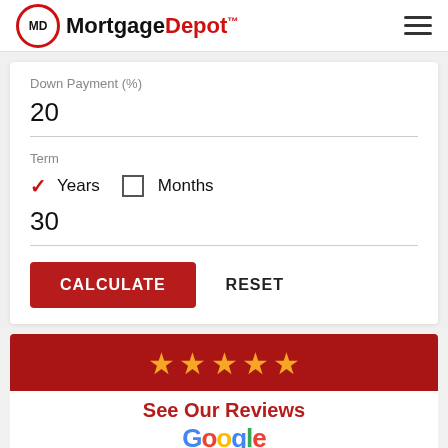MortgageDepot™
Down Payment (%)
20
Term
✓ Years  ☐ Months
30
CALCULATE   RESET
[Figure (infographic): Five gold stars on a dark red/crimson banner background indicating a 5-star rating]
See Our Reviews
Google